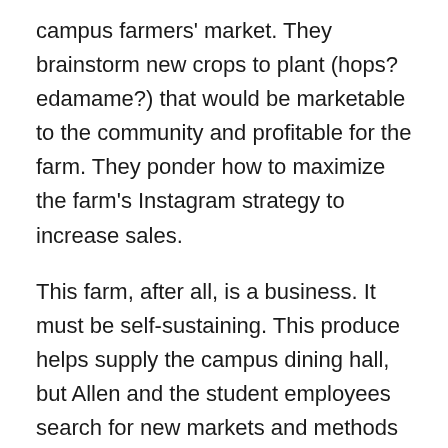campus farmers' market. They brainstorm new crops to plant (hops? edamame?) that would be marketable to the community and profitable for the farm. They ponder how to maximize the farm's Instagram strategy to increase sales.
This farm, after all, is a business. It must be self-sustaining. This produce helps supply the campus dining hall, but Allen and the student employees search for new markets and methods to increase sales beyond that. After the students tout the noneducational aspects of the farm, I hesitate to mention to them: This seems deeply educational.
“Almost every day someone here has a new idea,”